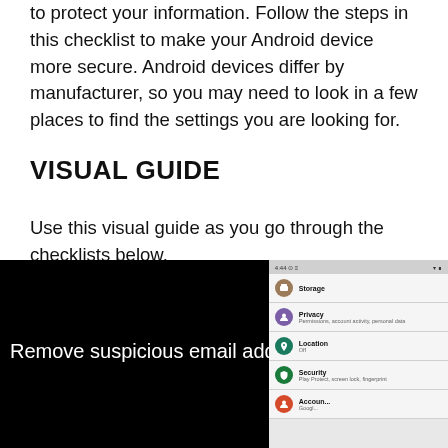to protect your information. Follow the steps in this checklist to make your Android device more secure. Android devices differ by manufacturer, so you may need to look in a few places to find the settings you are looking for.
VISUAL GUIDE
Use this visual guide as you go through the checklists below.
[Figure (screenshot): Split screenshot: left side shows black background with white text 'Remove suspicious email address', right side shows Android settings menu with Storage, Privacy, Location, Security, and Accounts items]